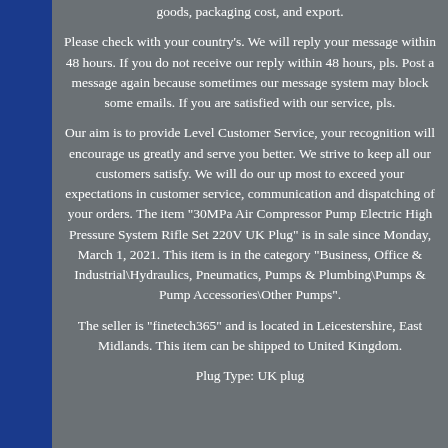goods, packaging cost, and export.
Please check with your country's. We will reply your message within 48 hours. If you do not receive our reply within 48 hours, pls. Post a message again because sometimes our message system may block some emails. If you are satisfied with our service, pls.
Our aim is to provide Level Customer Service, your recognition will encourage us greatly and serve you better. We strive to keep all our customers satisfy. We will do our up most to exceed your expectations in customer service, communication and dispatching of your orders. The item "30MPa Air Compressor Pump Electric High Pressure System Rifle Set 220V UK Plug" is in sale since Monday, March 1, 2021. This item is in the category "Business, Office & Industrial\Hydraulics, Pneumatics, Pumps & Plumbing\Pumps & Pump Accessories\Other Pumps".
The seller is "finetech365" and is located in Leicestershire, East Midlands. This item can be shipped to United Kingdom.
Plug Type: UK plug